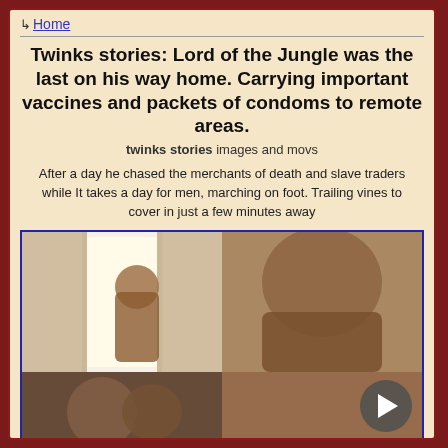↳ Home
Twinks stories: Lord of the Jungle was the last on his way home. Carrying important vaccines and packets of condoms to remote areas.
twinks stories images and movs
After a day he chased the merchants of death and slave traders while It takes a day for men, marching on foot. Trailing vines to cover in just a few minutes away
[Figure (photo): Grid of two photos: left shows a silhouette figure by a bright window; right shows a close-up figure. Below is a partial third photo showing two people. A play button overlay is visible.]